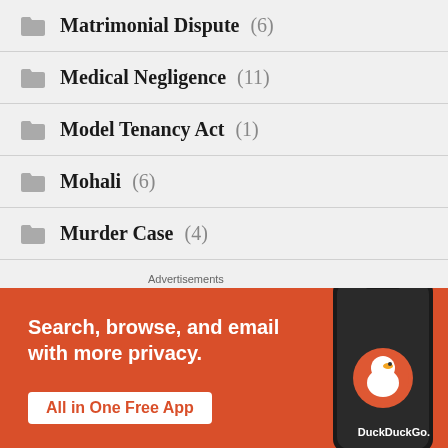Matrimonial Dispute (6)
Medical Negligence (11)
Model Tenancy Act (1)
Mohali (6)
Murder Case (4)
Mutual Consent Divorce (2)
NCLT Chandigarh (11)
[Figure (infographic): DuckDuckGo advertisement banner with orange background. Text: 'Search, browse, and email with more privacy. All in One Free App'. Shows a phone mockup with DuckDuckGo logo.]